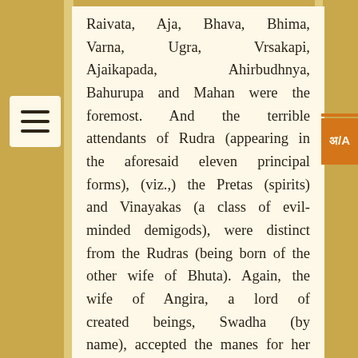Raivata, Aja, Bhava, Bhima, Varna, Ugra, Vrsakapi, Ajaikapada, Ahirbudhnya, Bahurupa and Mahan were the foremost. And the terrible attendants of Rudra (appearing in the aforesaid eleven principal forms), (viz.,) the Pretas (spirits) and Vinayakas (a class of evil-minded demigods), were distinct from the Rudras (being born of the other wife of Bhuta). Again, the wife of Angira, a lord of created beings, Swadha (by name), accepted the manes for her sons; while (his other wife) Sati adopted Atharvaveda (the